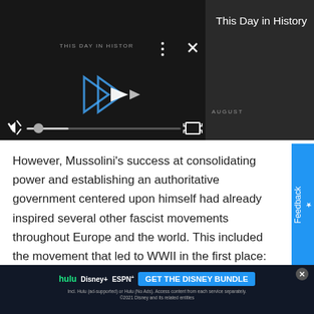[Figure (screenshot): Video player showing 'This Day in History' with play button, mute icon, progress bar, and fullscreen controls on dark background]
This Day in History
However, Mussolini's success at consolidating power and establishing an authoritative government centered upon himself had already inspired several other fascist movements throughout Europe and the world. This included the movement that led to WWII in the first place: Adolf Hitler and Germany's Nazi party. In fact, Hitler so admired Mussolini that he
[Figure (screenshot): Advertisement banner: Hulu, Disney+, ESPN+ logos with 'GET THE DISNEY BUNDLE' button and fine print about subscription terms. ©2021 Disney and its related entities]